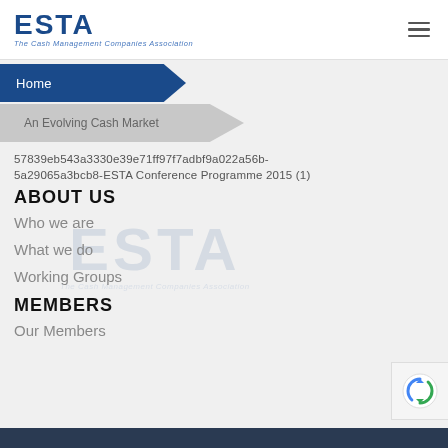ESTA – The Cash Management Companies Association
Home
An Evolving Cash Market
57839eb543a3330e39e71ff97f7adbf9a022a56b-
5a29065a3bcb8-ESTA Conference Programme 2015 (1)
ABOUT US
Who we are
What we do
Working Groups
MEMBERS
Our Members